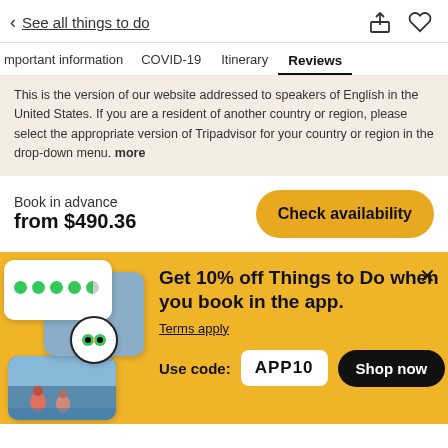< See all things to do
mportant information   COVID-19   Itinerary   Reviews
This is the version of our website addressed to speakers of English in the United States. If you are a resident of another country or region, please select the appropriate version of Tripadvisor for your country or region in the drop-down menu. more
Book in advance
from $490.36
Check availability
Get 10% off Things to Do when you book in the app.
Terms apply
Use code: APP10
Shop now